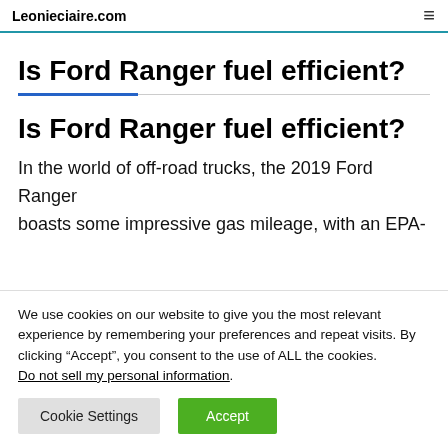Leonieciaire.com
Is Ford Ranger fuel efficient?
Is Ford Ranger fuel efficient?
In the world of off-road trucks, the 2019 Ford Ranger boasts some impressive gas mileage, with an EPA-
We use cookies on our website to give you the most relevant experience by remembering your preferences and repeat visits. By clicking “Accept”, you consent to the use of ALL the cookies. Do not sell my personal information.